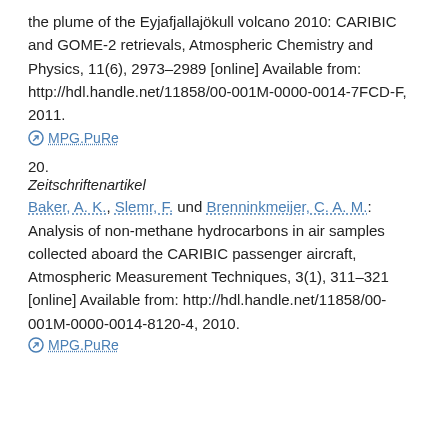the plume of the Eyjafjallajökull volcano 2010: CARIBIC and GOME-2 retrievals, Atmospheric Chemistry and Physics, 11(6), 2973–2989 [online] Available from: http://hdl.handle.net/11858/00-001M-0000-0014-7FCD-F, 2011.
MPG.PuRe
20.
Zeitschriftenartikel
Baker, A. K., Slemr, F. und Brenninkmeijer, C. A. M.: Analysis of non-methane hydrocarbons in air samples collected aboard the CARIBIC passenger aircraft, Atmospheric Measurement Techniques, 3(1), 311–321 [online] Available from: http://hdl.handle.net/11858/00-001M-0000-0014-8120-4, 2010.
MPG.PuRe